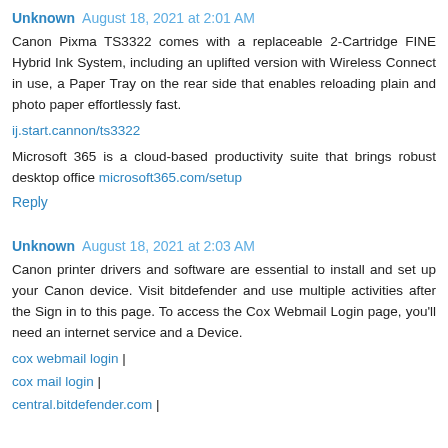Unknown August 18, 2021 at 2:01 AM
Canon Pixma TS3322 comes with a replaceable 2-Cartridge FINE Hybrid Ink System, including an uplifted version with Wireless Connect in use, a Paper Tray on the rear side that enables reloading plain and photo paper effortlessly fast.
ij.start.cannon/ts3322
Microsoft 365 is a cloud-based productivity suite that brings robust desktop office microsoft365.com/setup
Reply
Unknown August 18, 2021 at 2:03 AM
Canon printer drivers and software are essential to install and set up your Canon device. Visit bitdefender and use multiple activities after the Sign in to this page. To access the Cox Webmail Login page, you'll need an internet service and a Device.
cox webmail login |
cox mail login |
central.bitdefender.com |